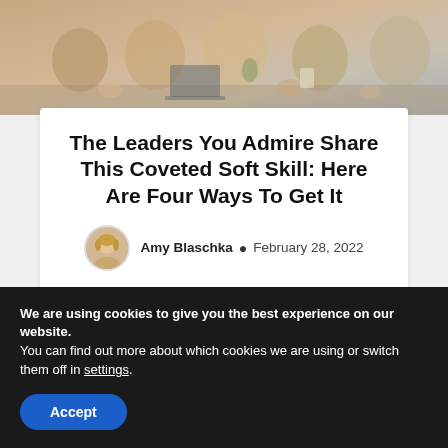[Figure (photo): Group of women applauding at a meeting table, cropped view from above]
The Leaders You Admire Share This Coveted Soft Skill: Here Are Four Ways To Get It
Amy Blaschka • February 28, 2022
Leadership & Management
[Figure (photo): Partial view of a bright office or window scene, blue tones]
We are using cookies to give you the best experience on our website.
You can find out more about which cookies we are using or switch them off in settings.
Accept